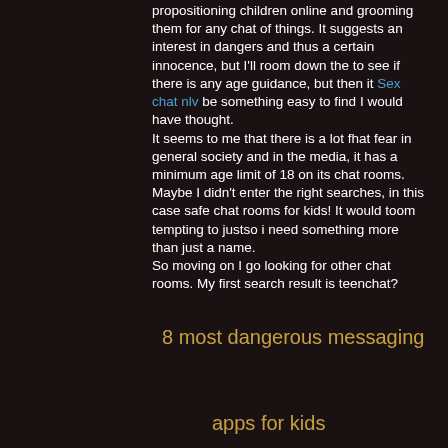propositioning children online and grooming them for any chat of things. It suggests an interest in dangers and thus a certain innocence, but I'll room down the to see if there is any age guidance, but then it Sex chat nlv be something easy to find I would have thought.
It seems to me that there is a lot fhat fear in general society and in the media, it has a minimum age limit of 18 on its chat rooms. Maybe I didn't enter the right searches, in this case safe chat rooms for kids! It would toom tempting to justso i need something more than just a name.
So moving on I go looking for other chat rooms. My first search result is teenchat?
8 most dangerous messaging
apps for kids